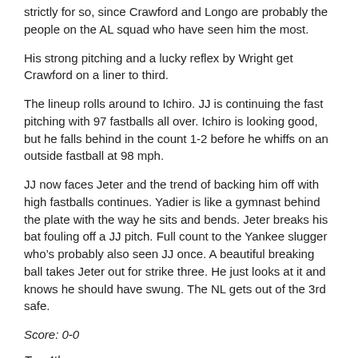strictly for so, since Crawford and Longo are probably the people on the AL squad who have seen him the most.
His strong pitching and a lucky reflex by Wright get Crawford on a liner to third.
The lineup rolls around to Ichiro. JJ is continuing the fast pitching with 97 fastballs all over. Ichiro is looking good, but he falls behind in the count 1-2 before he whiffs on an outside fastball at 98 mph.
JJ now faces Jeter and the trend of backing him off with high fastballs continues. Yadier is like a gymnast behind the plate with the way he sits and bends. Jeter breaks his bat fouling off a JJ pitch. Full count to the Yankee slugger who’s probably also seen JJ once. A beautiful breaking ball takes Jeter out for strike three. He just looks at it and knows he should have swung. The NL gets out of the 3rd safe.
Score: 0-0
Top 4th
Torii Hunter comes into CF and Ichiro comes out. Prado grounds to Jeter, 6-3. Cliff Lee is on the mound too, btw. One inning for Pettitte? Really?
Pujols at the plate. He uncharacteristically takes three strikes from Lee